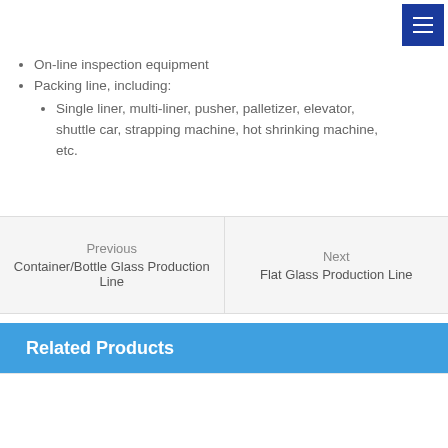On-line inspection equipment
Packing line, including:
Single liner, multi-liner, pusher, palletizer, elevator, shuttle car, strapping machine, hot shrinking machine, etc.
Previous
Container/Bottle Glass Production Line
Next
Flat Glass Production Line
Related Products